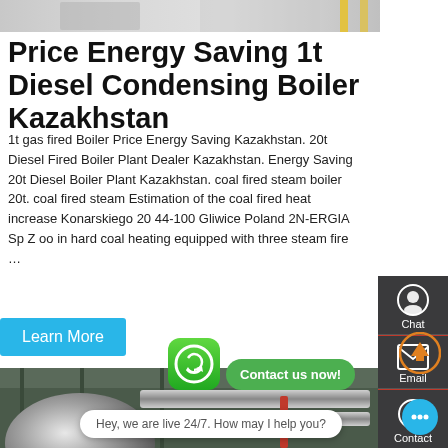[Figure (photo): Top portion of industrial boiler photo]
Price Energy Saving 1t Diesel Condensing Boiler Kazakhstan
1t gas fired Boiler Price Energy Saving Kazakhstan. 20t Diesel Fired Boiler Plant Dealer Kazakhstan. Energy Saving 20t Diesel Boiler Plant Kazakhstan. coal fired steam boiler 20t. coal fired steam Estimation of the coal fired heat increase Konarskiego 20 44-100 Gliwice Poland 2N-ERGIA Sp Z oo in hard coal heating equipped with three steam fire …
[Figure (screenshot): Learn More button overlay]
[Figure (photo): Industrial boiler room with large cylindrical boiler and pipes. WhatsApp icon, Contact us now bubble, live chat bubble, and sidebar icons visible.]